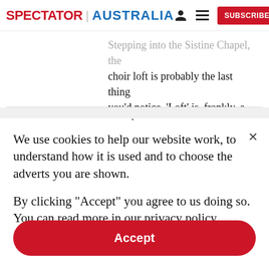SPECTATOR | AUSTRALIA  [user icon] [menu icon] SUBSCRIBE
Stepping into the Sistine Chapel, the choir loft is probably the last thing you'd notice. 'Loft' is, frankly, a stretch…
We use cookies to help our website work, to understand how it is used and to choose the adverts you are shown.
By clicking "Accept" you agree to us doing so. You can read more in our privacy policy.
Accept